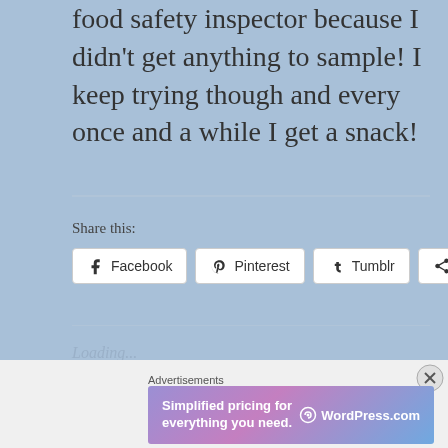food safety inspector because I didn't get anything to sample! I keep trying though and every once and a while I get a snack!
Share this:
[Figure (other): Social sharing buttons: Facebook, Pinterest, Tumblr, More]
Loading...
Advertisements
[Figure (other): WordPress.com advertisement banner: Simplified pricing for everything you need.]